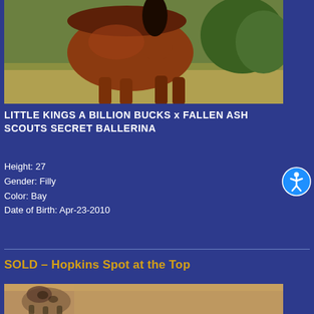[Figure (photo): Close-up photograph of a bay horse outdoors in a green/golden field, showing the horse's body and neck with a dark mane, sunlit warm reddish-brown coat]
LITTLE KINGS A BILLION BUCKS x FALLEN ASH SCOUTS SECRET BALLERINA
Height: 27
Gender: Filly
Color: Bay
Date of Birth: Apr-23-2010
SOLD – Hopkins Spot at the Top
[Figure (photo): Partial photograph at bottom of page showing what appears to be a horse or animal in a tan/brown outdoor setting, only partially visible]